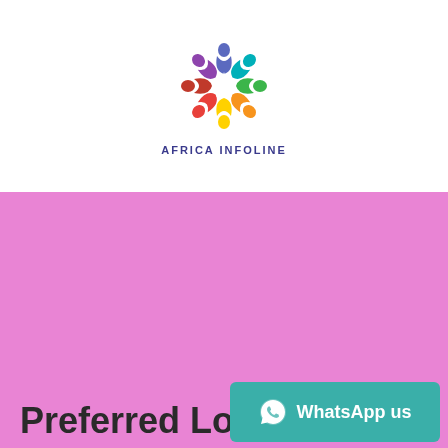[Figure (logo): Africa Infoline colorful circular logo made of stylized human figures in rainbow colors forming a star/flower shape]
AFRICA INFOLINE
Preferred Locations
Lagos
Nairobi
Addis Ababa
Mogadishu
Dar es Salaam
Abuja
WhatsApp us